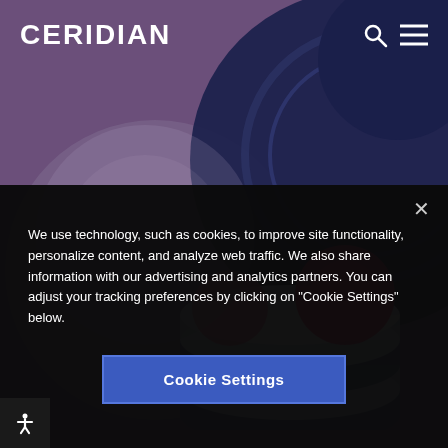[Figure (screenshot): Ceridian website screenshot showing logo, search and menu icons with dark navy circular background, and a decorative isometric illustration of stacked data/database objects with red and pink circle elements on a purple background]
CERIDIAN
We use technology, such as cookies, to improve site functionality, personalize content, and analyze web traffic. We also share information with our advertising and analytics partners. You can adjust your tracking preferences by clicking on “Cookie Settings” below.
Cookie Settings